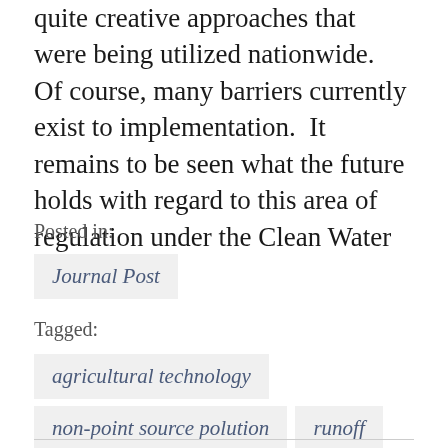quite creative approaches that were being utilized nationwide.  Of course, many barriers currently exist to implementation.  It remains to be seen what the future holds with regard to this area of regulation under the Clean Water Act.
Posted in:
Journal Post
Tagged:
agricultural technology
non-point source polution
runoff